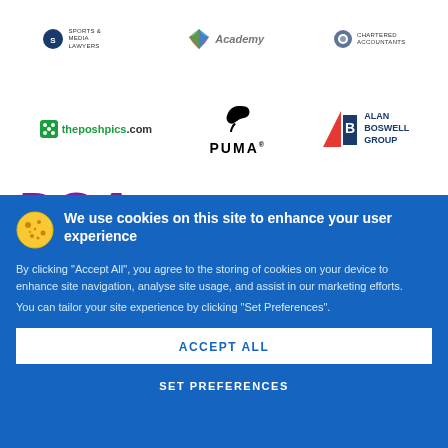[Figure (logo): Top row of sponsor logos: sports/media lawyers logo, Academy logo with colorful leaf icon, Chartered Accountants logo]
[Figure (logo): Middle row: theposhpics.com logo in green, PUMA logo in black with leaping cat, Alan Boswell Group logo with red triangle and blue B]
[Figure (logo): Partial DSA logo in purple italic bold text, partially obscured by cookie banner]
We use cookies on this site to enhance your user experience
By clicking “Accept All”, you agree to the storing of cookies on your device to enhance site navigation, analyse site usage, and assist in our marketing efforts.
You can tailor your site experience by clicking “Set Preferences”.
ACCEPT ALL
SET PREFERENCES